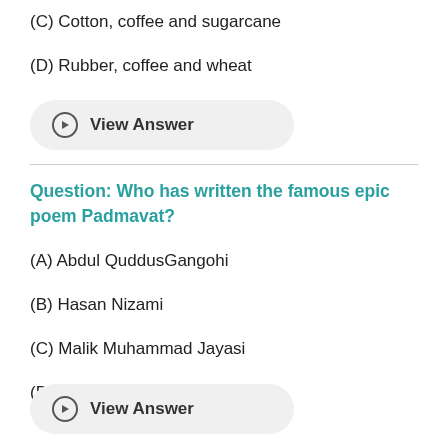(C) Cotton, coffee and sugarcane
(D) Rubber, coffee and wheat
View Answer
Question: Who has written the famous epic poem Padmavat?
(A) Abdul QuddusGangohi
(B) Hasan Nizami
(C) Malik Muhammad Jayasi
(D) JavadNurbakhsh
View Answer